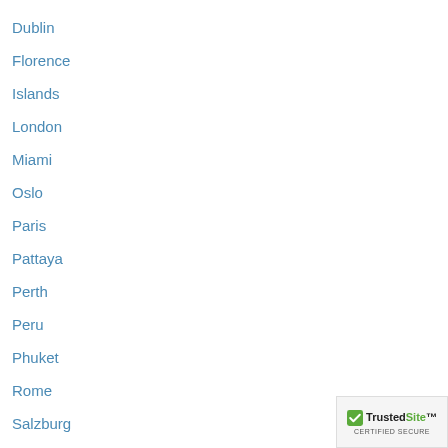Dublin
Florence
Islands
London
Miami
Oslo
Paris
Pattaya
Perth
Peru
Phuket
Rome
Salzburg
San Francisco
Seville
[Figure (logo): TrustedSite Certified Secure badge with green checkmark]